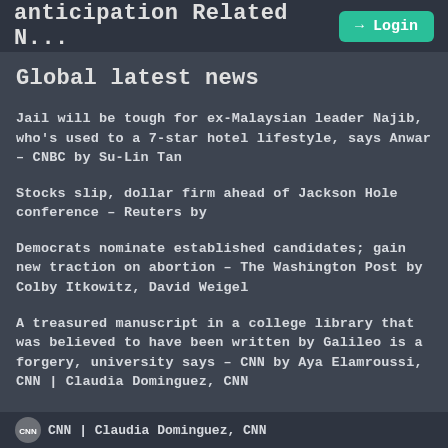anticipation Related N... Login
Global latest news
Jail will be tough for ex-Malaysian leader Najib, who's used to a 7-star hotel lifestyle, says Anwar – CNBC by Su-Lin Tan
Stocks slip, dollar firm ahead of Jackson Hole conference – Reuters by
Democrats nominate established candidates; gain new traction on abortion – The Washington Post by Colby Itkowitz, David Weigel
A treasured manuscript in a college library that was believed to have been written by Galileo is a forgery, university says – CNN by Aya Elamroussi, CNN | Claudia Dominguez, CNN